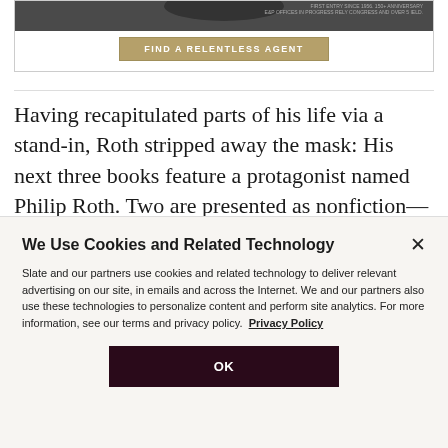[Figure (photo): Advertisement banner with dark image at top showing a person, and a gold 'FIND A RELENTLESS AGENT' button below]
Having recapitulated parts of his life via a stand-in, Roth stripped away the mask: His next three books feature a protagonist named Philip Roth. Two are presented as nonfiction—The Facts, a chilly autobiography that
We Use Cookies and Related Technology
Slate and our partners use cookies and related technology to deliver relevant advertising on our site, in emails and across the Internet. We and our partners also use these technologies to personalize content and perform site analytics. For more information, see our terms and privacy policy.  Privacy Policy
OK